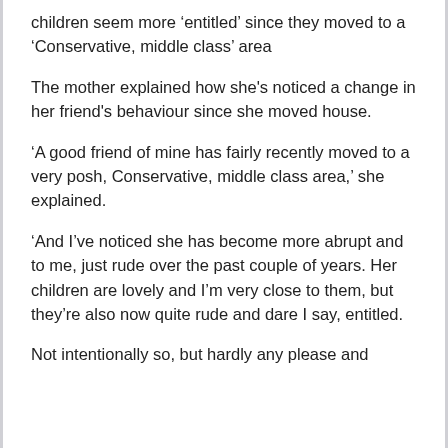children seem more ‘entitled’ since they moved to a ‘Conservative, middle class’ area
The mother explained how she's noticed a change in her friend's behaviour since she moved house.
‘A good friend of mine has fairly recently moved to a very posh, Conservative, middle class area,’ she explained.
‘And I’ve noticed she has become more abrupt and to me, just rude over the past couple of years. Her children are lovely and I’m very close to them, but they’re also now quite rude and dare I say, entitled.
Not intentionally so, but hardly any please and